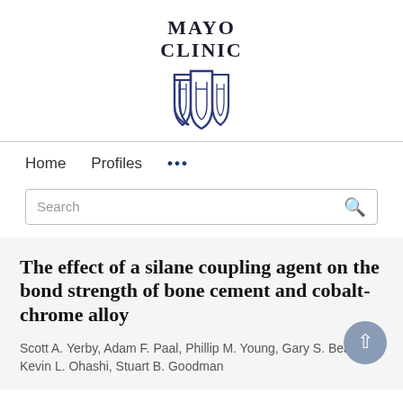[Figure (logo): Mayo Clinic logo with shield icon and organization name text]
Home   Profiles   ...
Search
The effect of a silane coupling agent on the bond strength of bone cement and cobalt-chrome alloy
Scott A. Yerby, Adam F. Paal, Phillip M. Young, Gary S. Beaupré, Kevin L. Ohashi, Stuart B. Goodman